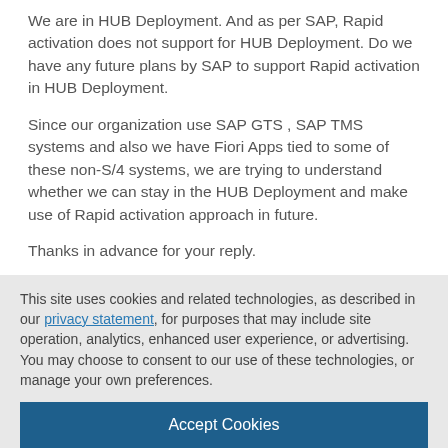We are in HUB Deployment. And as per SAP, Rapid activation does not support for HUB Deployment. Do we have any future plans by SAP to support Rapid activation in HUB Deployment.
Since our organization use SAP GTS , SAP TMS systems and also we have Fiori Apps tied to some of these non-S/4 systems, we are trying to understand whether we can stay in the HUB Deployment and make use of Rapid activation approach in future.
Thanks in advance for your reply.
This site uses cookies and related technologies, as described in our privacy statement, for purposes that may include site operation, analytics, enhanced user experience, or advertising. You may choose to consent to our use of these technologies, or manage your own preferences.
Accept Cookies
More Information
Privacy Policy | Powered by: TrustArc
Hi Badri